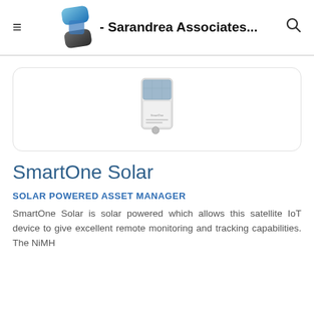≡  - Sarandrea Associates...  🔍
[Figure (photo): SmartOne Solar device — a small white rectangular satellite IoT tracker with a solar panel on top, displayed inside a rounded white card.]
SmartOne Solar
SOLAR POWERED ASSET MANAGER
SmartOne Solar is solar powered which allows this satellite IoT device to give excellent remote monitoring and tracking capabilities. The NiMH